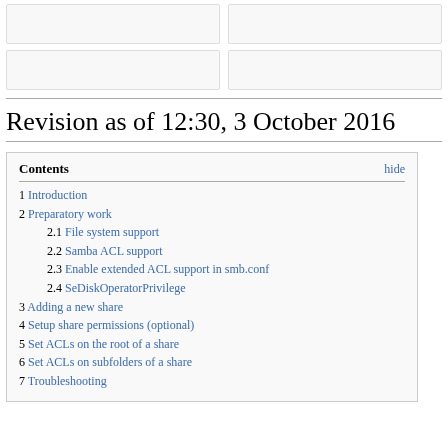Revision as of 12:30, 3 October 2016
1 Introduction
2 Preparatory work
2.1 File system support
2.2 Samba ACL support
2.3 Enable extended ACL support in smb.conf
2.4 SeDiskOperatorPrivilege
3 Adding a new share
4 Setup share permissions (optional)
5 Set ACLs on the root of a share
6 Set ACLs on subfolders of a share
7 Troubleshooting